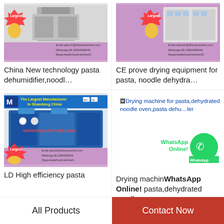[Figure (photo): Product image: pasta dehumidifier machine with 'Largest' badge and contact info overlay on purple background]
China New technology pasta dehumidifier,noodl…
[Figure (photo): Product image: CE prove drying equipment with 'Largest' badge and contact info overlay on purple background]
CE prove drying equipment for pasta, noodle dehydra…
[Figure (photo): Product image: LD High efficiency pasta drying machine - swimming pool heat pump with blue cabinet, 'The Largest Manufacturer In Shandong China' banner]
LD High efficiency pasta
[Figure (infographic): Broken image placeholder for Drying machine for pasta,dehydrated noodle oven,pasta dehumidifier with WhatsApp Online overlay]
Drying machine for pasta,dehydrated noodle…
All Products
Contact Now